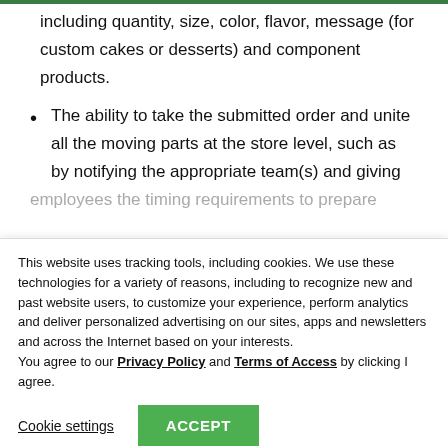including quantity, size, color, flavor, message (for custom cakes or desserts) and component products.
The ability to take the submitted order and unite all the moving parts at the store level, such as by notifying the appropriate team(s) and giving employees the timing requirements to prepare
This website uses tracking tools, including cookies. We use these technologies for a variety of reasons, including to recognize new and past website users, to customize your experience, perform analytics and deliver personalized advertising on our sites, apps and newsletters and across the Internet based on your interests.
You agree to our Privacy Policy and Terms of Access by clicking I agree.
Cookie settings   ACCEPT